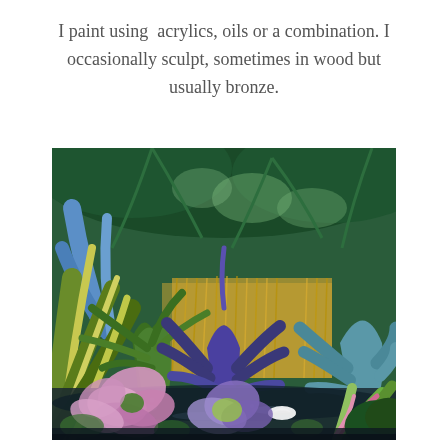I paint using acrylics, oils or a combination. I occasionally sculpt, sometimes in wood but usually bronze.
[Figure (illustration): A colorful tropical garden painting featuring lush agave plants, palms, water lilies, and tropical foliage in vivid shades of green, blue, purple, and pink, painted in an expressive style with a reflective pond or water surface in the foreground.]